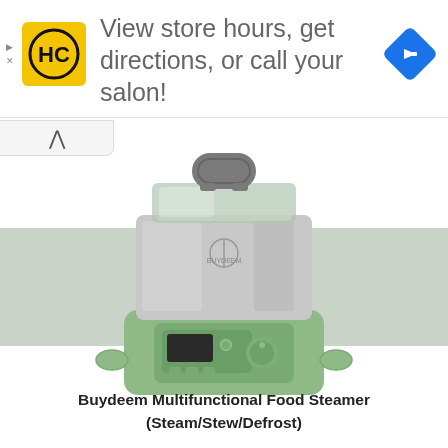[Figure (infographic): Advertisement banner with HC (Haircuttery) yellow logo on left, text 'View store hours, get directions, or call your salon!' in gray, and a blue navigation diamond icon on right. Small ad indicators (triangle and X) on far left.]
[Figure (photo): Buydeem Multifunctional Food Steamer product photo. A square food steamer appliance in sage/mint green with a stainless steel steaming basket on top and a digital control panel with display screen, buttons, and a rotary dial on the front. Gray background band across the middle of the image.]
Buydeem Multifunctional Food Steamer (Steam/Stew/Defrost)